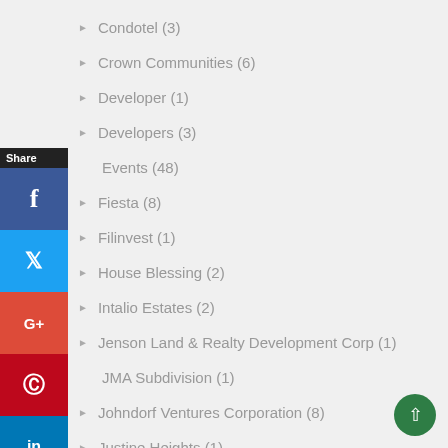Condotel (3)
Crown Communities (6)
Developer (1)
Developers (3)
Events (48)
Fiesta (8)
Filinvest (1)
House Blessing (2)
Intalio Estates (2)
Jenson Land & Realty Development Corp (1)
JMA Subdivision (1)
Johndorf Ventures Corporation (8)
Justine Heights (1)